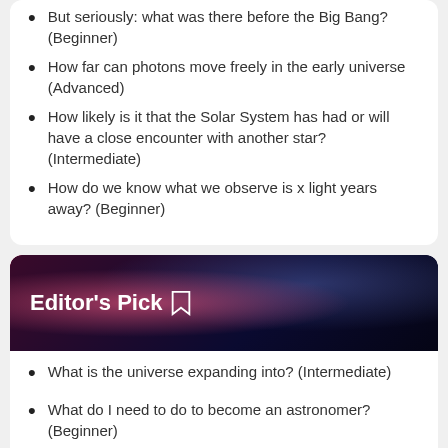But seriously: what was there before the Big Bang? (Beginner)
How far can photons move freely in the early universe (Advanced)
How likely is it that the Solar System has had or will have a close encounter with another star? (Intermediate)
How do we know what we observe is x light years away? (Beginner)
Editor's Pick
What is the universe expanding into? (Intermediate)
What do I need to do to become an astronomer? (Beginner)